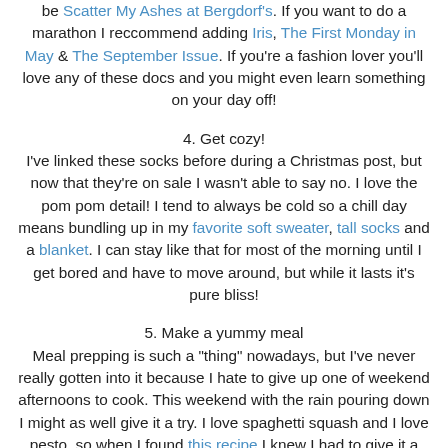be Scatter My Ashes at Bergdorf's. If you want to do a marathon I reccommend adding Iris, The First Monday in May & The September Issue. If you're a fashion lover you'll love any of these docs and you might even learn something on your day off!
4. Get cozy!
I've linked these socks before during a Christmas post, but now that they're on sale I wasn't able to say no. I love the pom pom detail! I tend to always be cold so a chill day means bundling up in my favorite soft sweater, tall socks and a blanket. I can stay like that for most of the morning until I get bored and have to move around, but while it lasts it's pure bliss!
5. Make a yummy meal
Meal prepping is such a "thing" nowadays, but I've never really gotten into it because I hate to give up one of weekend afternoons to cook. This weekend with the rain pouring down I might as well give it a try. I love spaghetti squash and I love pesto, so when I found this recipe I knew I had to give it a try. If there's only one of you eating it and you cook a whole